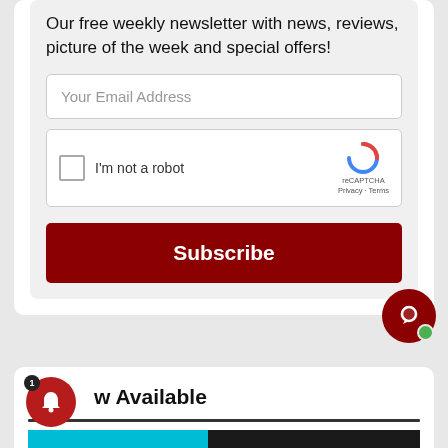Our free weekly newsletter with news, reviews, picture of the week and special offers!
[Figure (screenshot): Email input field with placeholder 'Your Email Address']
[Figure (screenshot): reCAPTCHA widget with checkbox 'I'm not a robot']
[Figure (screenshot): Subscribe button in dark red]
[Figure (screenshot): Chat widget circle button with green online dot]
w Available
[Figure (screenshot): Notification bell icon with badge showing 1]